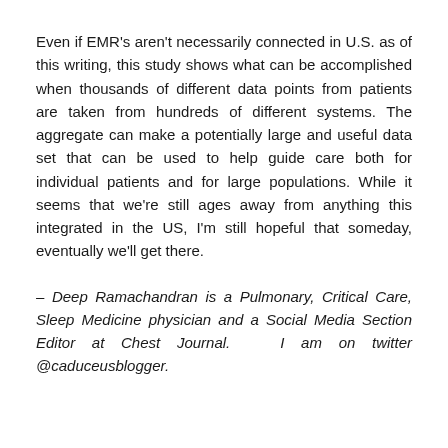Even if EMR's aren't necessarily connected in U.S. as of this writing, this study shows what can be accomplished when thousands of different data points from patients are taken from hundreds of different systems. The aggregate can make a potentially large and useful data set that can be used to help guide care both for individual patients and for large populations. While it seems that we're still ages away from anything this integrated in the US, I'm still hopeful that someday, eventually we'll get there.
– Deep Ramachandran is a Pulmonary, Critical Care, Sleep Medicine physician and a Social Media Section Editor at Chest Journal. I am on twitter @caduceusblogger.